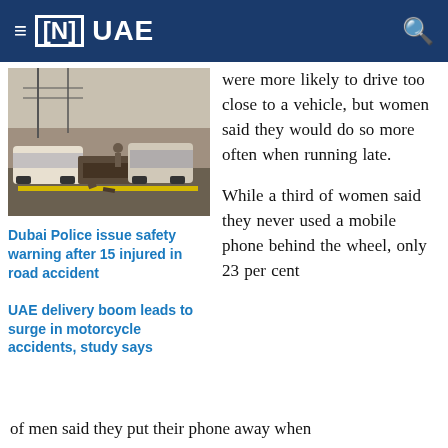≡ [N] UAE
[Figure (photo): Car accident scene showing multiple wrecked vehicles on a road]
Dubai Police issue safety warning after 15 injured in road accident
UAE delivery boom leads to surge in motorcycle accidents, study says
were more likely to drive too close to a vehicle, but women said they would do so more often when running late.

While a third of women said they never used a mobile phone behind the wheel, only 23 per cent
of men said they put their phone away when